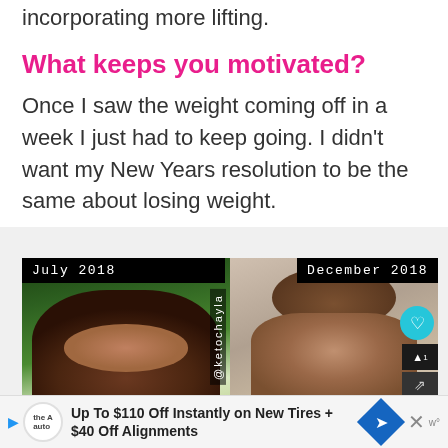incorporating more lifting.
What keeps you motivated?
Once I saw the weight coming off in a week I just had to keep going. I didn't want my New Years resolution to be the same about losing weight.
[Figure (photo): Before and after comparison photo. Left panel labeled 'July 2018' shows a woman with long dark hair in front of green foliage. Right panel labeled 'December 2018' shows the same woman with hair up, looking slimmer. Watermark '@ketochayla' runs vertically between the panels. UI buttons visible: heart (teal), up arrow, share arrow on right edge.]
Up To $110 Off Instantly on New Tires + $40 Off Alignments